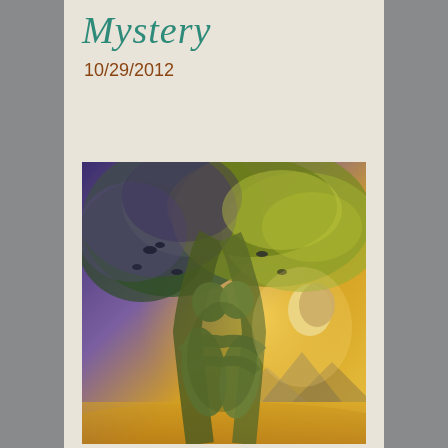Mystery
10/29/2012
[Figure (illustration): A fantasy painting of two green tree-human figures embracing and kissing, their hair/heads forming an elaborate tree canopy with branches spreading wide. The background shows a golden sky, crescent moon, and distant mountains. Birds are perched among the branches. Warm golden and purple tones dominate.]